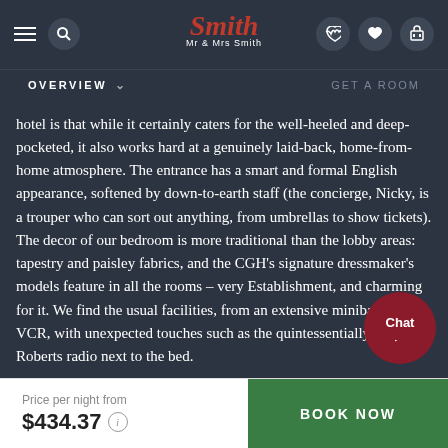Mr & Mrs Smith — Navigation header with logo, hamburger menu, search, phone, heart, and luggage icons
OVERVIEW   GET A ROOM
hotel is that while it certainly caters for the well-heeled and deep-pocketed, it also works hard at a genuinely laid-back, home-from-home atmosphere. The entrance has a smart and formal English appearance, softened by down-to-earth staff (the concierge, Nicky, is a trouper who can sort out anything, from umbrellas to show tickets). The decor of our bedroom is more traditional than the lobby areas: tapestry and paisley fabrics, and the CGH's signature dressmaker's models feature in all the rooms – very Establishment, and charming for it. We find the usual facilities, from an extensive minibar to VCR, with unexpected touches such as the quintessentially English Roberts radio next to the bed.
Price per night from $434.37  BOOK NOW